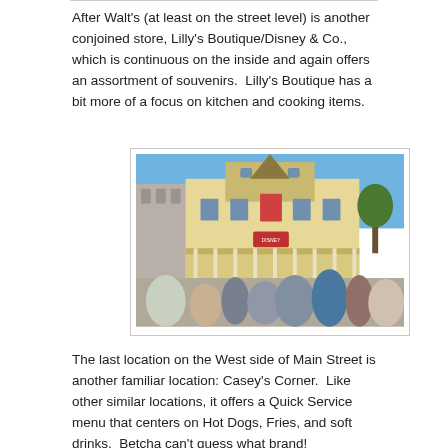After Walt's (at least on the street level) is another conjoined store, Lilly's Boutique/Disney & Co., which is continuous on the inside and again offers an assortment of souvenirs.  Lilly's Boutique has a bit more of a focus on kitchen and cooking items.
[Figure (photo): Exterior photo of Lilly's Boutique/Disney & Co. on Main Street, showing a Victorian-style yellow building with ornate architecture, covered porch with columns, and crowds of visitors walking in front on a sunny day.]
The last location on the West side of Main Street is another familiar location: Casey's Corner.  Like other similar locations, it offers a Quick Service menu that centers on Hot Dogs, Fries, and soft drinks.  Betcha can't guess what brand!